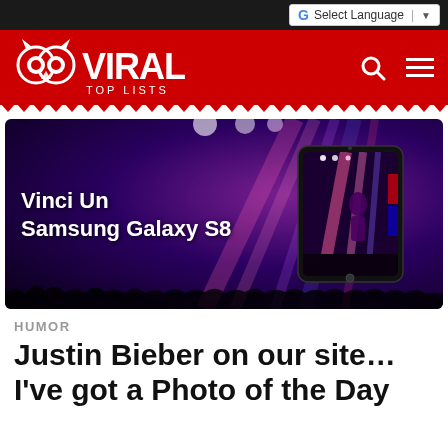Select Language
[Figure (logo): Viral Top Lists website logo in white text on red background with owl mascot graphic]
[Figure (infographic): Advertisement banner for Samsung Galaxy S8 contest: 'Vinci Un Samsung Galaxy S8' with phone image on dark purple concert background]
HUMOR
Justin Bieber on our site… I've got a Photo of the Day